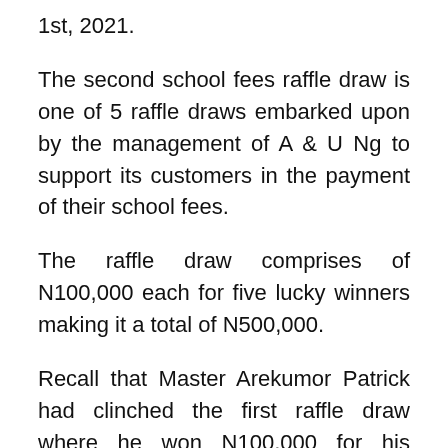1st, 2021.
The second school fees raffle draw is one of 5 raffle draws embarked upon by the management of A & U Ng to support its customers in the payment of their school fees.
The raffle draw comprises of N100,000 each for five lucky winners making it a total of N500,000.
Recall that Master Arekumor Patrick had clinched the first raffle draw where he won N100,000 for his school fees payment of N120,000.